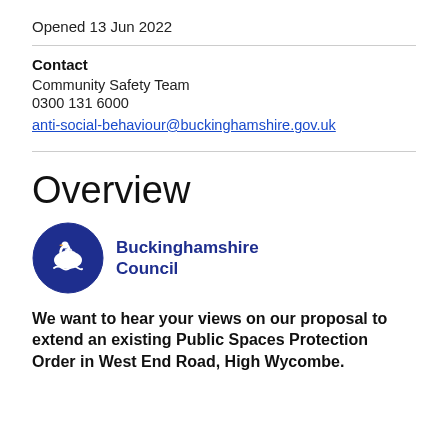Opened 13 Jun 2022
Contact
Community Safety Team
0300 131 6000
anti-social-behaviour@buckinghamshire.gov.uk
Overview
[Figure (logo): Buckinghamshire Council circular logo with swan and trees on blue background, with 'Buckinghamshire Council' text in dark blue]
We want to hear your views on our proposal to extend an existing Public Spaces Protection Order in West End Road, High Wycombe.